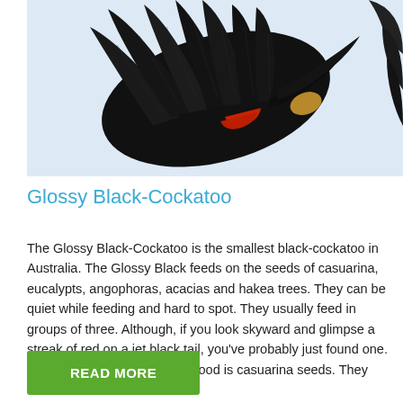[Figure (photo): Close-up photograph of a Glossy Black-Cockatoo in flight showing dark black feathers with red tail markings against a light blue sky background. A second partial bird is visible on the right edge.]
Glossy Black-Cockatoo
The Glossy Black-Cockatoo is the smallest black-cockatoo in Australia. The Glossy Black feeds on the seeds of casuarina, eucalypts, angophoras, acacias and hakea trees. They can be quiet while feeding and hard to spot. They usually feed in groups of three. Although, if you look skyward and glimpse a streak of red on a jet black tail, you've probably just found one. The Glossy Blacks' favourite food is casuarina seeds. They als…
READ MORE